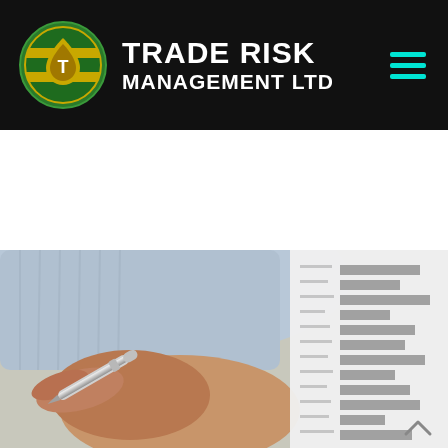TRADE RISK MANAGEMENT LTD
[Figure (photo): A person in a light blue business shirt writing or signing a document with a silver pen, with printed bar chart or table documents visible on a desk]